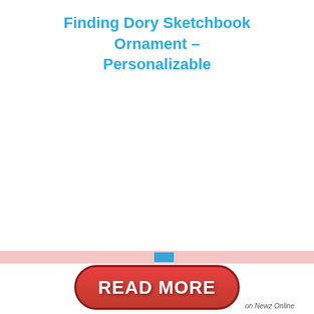Finding Dory Sketchbook Ornament – Personalizable
BUY HERE
[Figure (other): Red rounded-rectangle button with white bold text reading READ MORE, with a pink/red progress bar above it containing a small blue fill indicator, and 'on Newz Online' label to the right.]